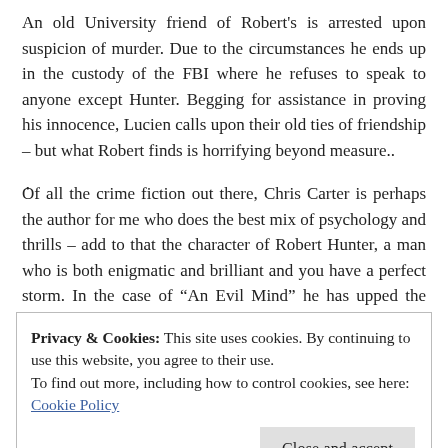An old University friend of Robert's is arrested upon suspicion of murder. Due to the circumstances he ends up in the custody of the FBI where he refuses to speak to anyone except Hunter. Begging for assistance in proving his innocence, Lucien calls upon their old ties of friendship – but what Robert finds is horrifying beyond measure..
Of all the crime fiction out there, Chris Carter is perhaps the author for me who does the best mix of psychology and thrills – add to that the character of Robert Hunter, a man who is both enigmatic and brilliant and you have a perfect storm. In the case of "An Evil Mind" he has upped the game considerably, we are shown into the darkest corners of the human psyche from a
Privacy & Cookies: This site uses cookies. By continuing to use this website, you agree to their use.
To find out more, including how to control cookies, see here: Cookie Policy
knew nothing good was coming but I couldn't look away.